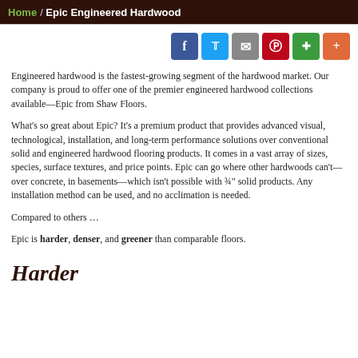Home / Epic Engineered Hardwood
Engineered hardwood is the fastest-growing segment of the hardwood market. Our company is proud to offer one of the premier engineered hardwood collections available—Epic from Shaw Floors.
What's so great about Epic? It's a premium product that provides advanced visual, technological, installation, and long-term performance solutions over conventional solid and engineered hardwood flooring products. It comes in a vast array of sizes, species, surface textures, and price points. Epic can go where other hardwoods can't—over concrete, in basements—which isn't possible with ¾" solid products. Any installation method can be used, and no acclimation is needed.
Compared to others …
Epic is harder, denser, and greener than comparable floors.
Harder